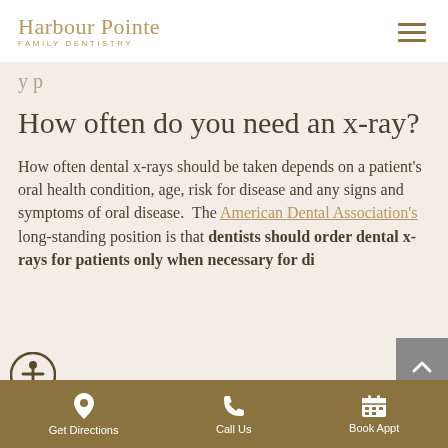Harbour Pointe FAMILY DENTISTRY
y p
How often do you need an x-ray?
How often dental x-rays should be taken depends on a patient's oral health condition, age, risk for disease and any signs and symptoms of oral disease.  The American Dental Association's long-standing position is that dentists should order dental x-rays for patients only when necessary for di...
Get Directions   Call Us   Book Appt